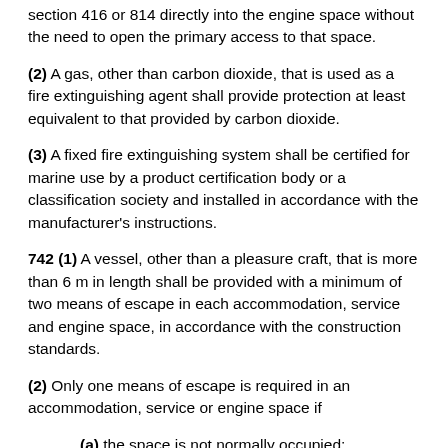section 416 or 814 directly into the engine space without the need to open the primary access to that space.
(2) A gas, other than carbon dioxide, that is used as a fire extinguishing agent shall provide protection at least equivalent to that provided by carbon dioxide.
(3) A fixed fire extinguishing system shall be certified for marine use by a product certification body or a classification society and installed in accordance with the manufacturer’s instructions.
742 (1) A vessel, other than a pleasure craft, that is more than 6 m in length shall be provided with a minimum of two means of escape in each accommodation, service and engine space, in accordance with the construction standards.
(2) Only one means of escape is required in an accommodation, service or engine space if
(a) the space is not normally occupied;